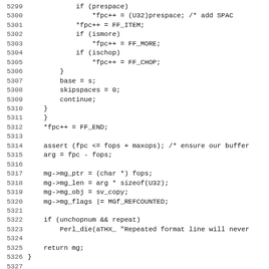Source code listing, lines 5299-5330
5299    if (prespace)
5300        *fpc++ = (U32)prespace; /* add SPAC
5301    *fpc++ = FF_ITEM;
5302    if (ismore)
5303        *fpc++ = FF_MORE;
5304    if (ischop)
5305        *fpc++ = FF_CHOP;
5306    }
5307    base = s;
5308    skipspaces = 0;
5309    continue;
5310    }
5311    }
5312    *fpc++ = FF_END;
5313
5314    assert (fpc <= fops + maxops); /* ensure our buffer
5315    arg = fpc - fops;
5316
5317    mg->mg_ptr = (char *) fops;
5318    mg->mg_len = arg * sizeof(U32);
5319    mg->mg_obj = sv_copy;
5320    mg->mg_flags |= MGf_REFCOUNTED;
5321
5322    if (unchopnum && repeat)
5323        Perl_die(aTHX_ "Repeated format line will never
5324
5325    return mg;
5326 }
5327
5328
5329 STATIC bool
5330 S_num_overflow(NV value, I32 fldsize, I32 frcsize)